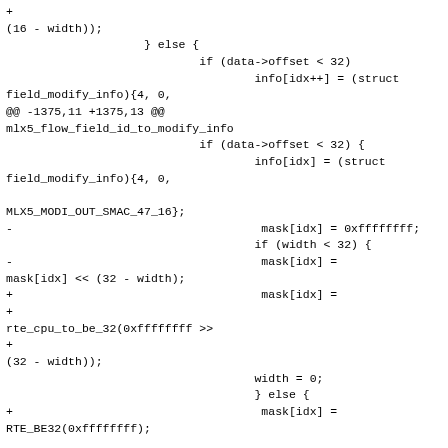+(16 - width));
                    } else {
                            if (data->offset < 32)
                                    info[idx++] = (struct field_modify_info){4, 0,
@@ -1375,11 +1375,13 @@
mlx5_flow_field_id_to_modify_info
                            if (data->offset < 32) {
                                    info[idx] = (struct field_modify_info){4, 0,

MLX5_MODI_OUT_SMAC_47_16};
-                                    mask[idx] = 0xffffffff;
                                    if (width < 32) {
-                                    mask[idx] =
mask[idx] << (32 - width);
+                                    mask[idx] =
+
rte_cpu_to_be_32(0xffffffff >>
+
(32 - width));
                                    width = 0;
                                    } else {
+                                    mask[idx] =
RTE_BE32(0xffffffff);

                                    width -= 32;
                                    }
                                    if (!width)
@@ -1388,10 +1390,8 @@
mlx5_flow_field_id_to_modify_info